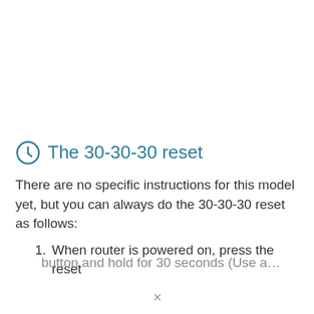The 30-30-30 reset
There are no specific instructions for this model yet, but you can always do the 30-30-30 reset as follows:
1. When router is powered on, press the reset button and hold for 30 seconds (Use a...